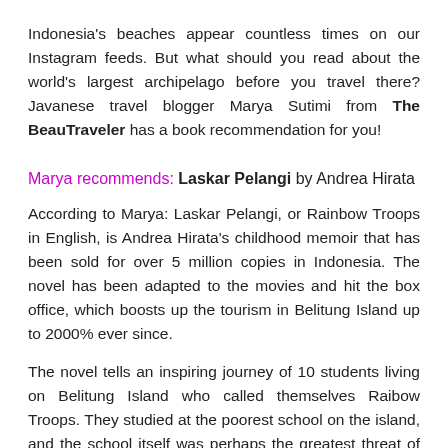Indonesia's beaches appear countless times on our Instagram feeds. But what should you read about the world's largest archipelago before you travel there? Javanese travel blogger Marya Sutimi from The BeauTraveler has a book recommendation for you!
Marya recommends: Laskar Pelangi by Andrea Hirata
According to Marya: Laskar Pelangi, or Rainbow Troops in English, is Andrea Hirata's childhood memoir that has been sold for over 5 million copies in Indonesia. The novel has been adapted to the movies and hit the box office, which boosts up the tourism in Belitung Island up to 2000% ever since.
The novel tells an inspiring journey of 10 students living on Belitung Island who called themselves Raibow Troops. They studied at the poorest school on the island, and the school itself was perhaps the greatest threat of closure.